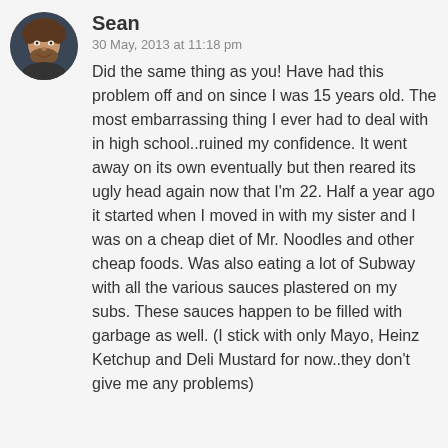[Figure (photo): Circular avatar photo of a young man with curly hair and a beard, smiling]
Sean
30 May, 2013 at 11:18 pm
Did the same thing as you! Have had this problem off and on since I was 15 years old. The most embarrassing thing I ever had to deal with in high school..ruined my confidence. It went away on its own eventually but then reared its ugly head again now that I'm 22. Half a year ago it started when I moved in with my sister and I was on a cheap diet of Mr. Noodles and other cheap foods. Was also eating a lot of Subway with all the various sauces plastered on my subs. These sauces happen to be filled with garbage as well. (I stick with only Mayo, Heinz Ketchup and Deli Mustard for now..they don't give me any problems)